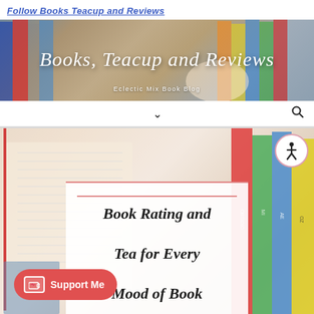Follow Books Teacup and Reviews
[Figure (photo): Books Teacup and Reviews blog banner with books background, white italic script text reading 'Books Teacup and Reviews' and subtitle 'Eclectic Mix Book Blog']
[Figure (screenshot): Navigation bar with dropdown chevron and search icon]
[Figure (photo): Background photo of open book pages and stacked colorful books with white card overlay showing 'Book Rating and Tea for Every Mood of Book' in handwritten-style font, accessibility icon in top right, and red Support Me button in bottom left]